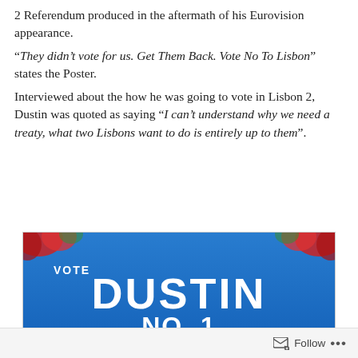2 Referendum produced in the aftermath of his Eurovision appearance. “They didn’t vote for us. Get Them Back. Vote No To Lisbon” states the Poster. Interviewed about the how he was going to vote in Lisbon 2, Dustin was quoted as saying “I can’t understand why we need a treaty, what two Lisbons want to do is entirely up to them”.
[Figure (photo): A blue campaign sign reading VOTE DUSTIN NO. 1 in large white letters, with some decorative red flowers visible in the upper corners of the image.]
Follow ...